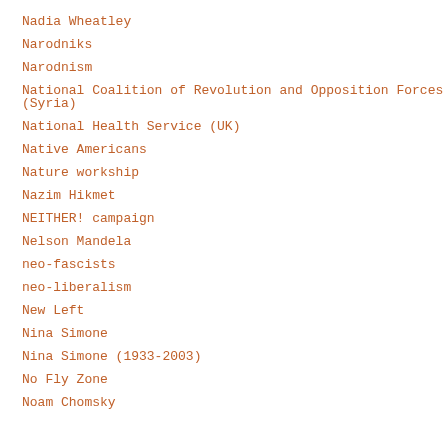Nadia Wheatley
Narodniks
Narodnism
National Coalition of Revolution and Opposition Forces (Syria)
National Health Service (UK)
Native Americans
Nature workship
Nazim Hikmet
NEITHER! campaign
Nelson Mandela
neo-fascists
neo-liberalism
New Left
Nina Simone
Nina Simone (1933-2003)
No Fly Zone
Noam Chomsky